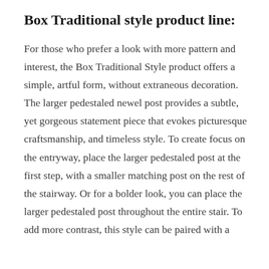Box Traditional style product line:
For those who prefer a look with more pattern and interest, the Box Traditional Style product offers a simple, artful form, without extraneous decoration. The larger pedestaled newel post provides a subtle, yet gorgeous statement piece that evokes picturesque craftsmanship, and timeless style. To create focus on the entryway, place the larger pedestaled post at the first step, with a smaller matching post on the rest of the stairway. Or for a bolder look, you can place the larger pedestaled post throughout the entire stair. To add more contrast, this style can be paired with a